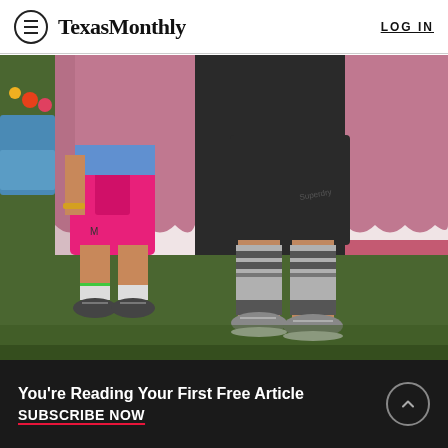TexasMonthly | LOG IN
[Figure (photo): Photo of two people standing on grass wearing German-style lederhosen outfits and athletic shoes, showing from mid-torso down. One wears bright pink lederhosen, the other dark shorts with long knee-high socks with stripes. Pink and lace-trimmed fabric curtains hang in the background.]
Javier fell in love with Germany the first time he
You're Reading Your First Free Article
SUBSCRIBE NOW